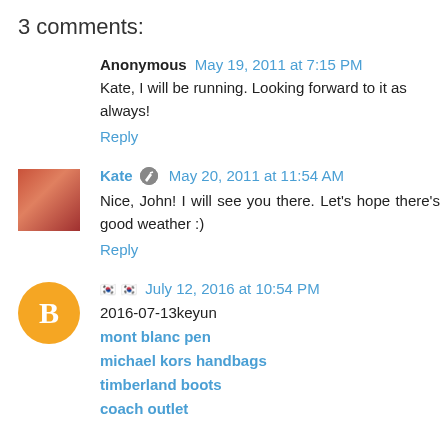3 comments:
Anonymous May 19, 2011 at 7:15 PM
Kate, I will be running. Looking forward to it as always!
Reply
Kate May 20, 2011 at 11:54 AM
Nice, John! I will see you there. Let's hope there's good weather :)
Reply
July 12, 2016 at 10:54 PM
2016-07-13keyun
mont blanc pen
michael kors handbags
timberland boots
coach outlet